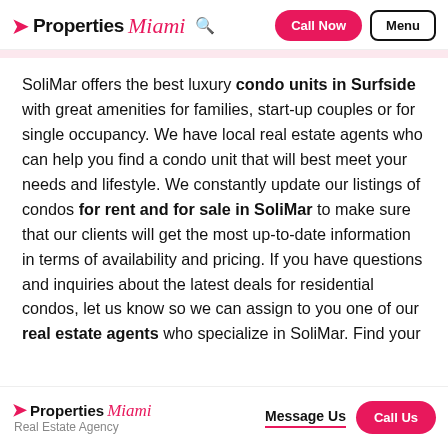Properties Miami — Call Now — Menu
SoliMar offers the best luxury condo units in Surfside with great amenities for families, start-up couples or for single occupancy. We have local real estate agents who can help you find a condo unit that will best meet your needs and lifestyle. We constantly update our listings of condos for rent and for sale in SoliMar to make sure that our clients will get the most up-to-date information in terms of availability and pricing. If you have questions and inquiries about the latest deals for residential condos, let us know so we can assign to you one of our real estate agents who specialize in SoliMar. Find your
Properties Miami Real Estate Agency — Message Us — Call Us